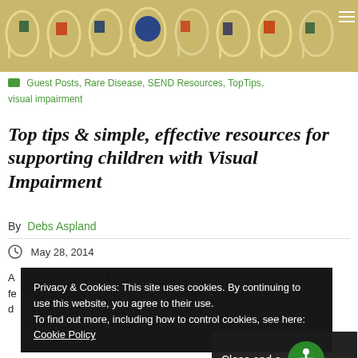[Figure (photo): Header banner image showing colorful craft/weaving circles with colored shapes (teal, orange, blue) arranged in a row on a yellowish-tan background. A hamburger menu icon is visible in the top right corner.]
Guest Posts, Rare Disease, SEND Resources, TopTips, visual impairment
Top tips & simple, effective resources for supporting children with Visual Impairment
By  Debs Aspland
May 28, 2014
Privacy & Cookies: This site uses cookies. By continuing to use this website, you agree to their use.
To find out more, including how to control cookies, see here: Cookie Policy
Close and a